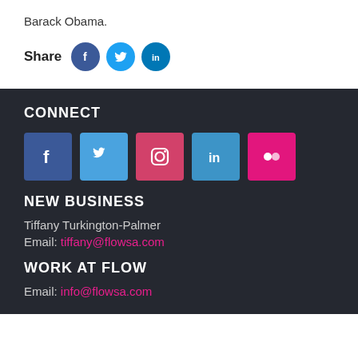Barack Obama.
Share (Facebook, Twitter, LinkedIn)
CONNECT
[Figure (infographic): Five social media icon squares: Facebook, Twitter, Instagram, LinkedIn, Flickr]
NEW BUSINESS
Tiffany Turkington-Palmer
Email: tiffany@flowsa.com
WORK AT FLOW
Email: info@flowsa.com